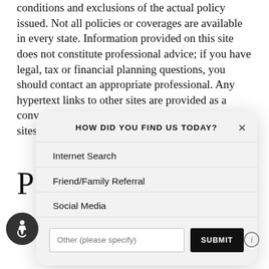conditions and exclusions of the actual policy issued. Not all policies or coverages are available in every state. Information provided on this site does not constitute professional advice; if you have legal, tax or financial planning questions, you should contact an appropriate professional. Any hypertext links to other sites are provided as a convenience only; we have no control over those sites and do not endorse or guarantee any i
[Figure (screenshot): A modal dialog box with title 'HOW DID YOU FIND US TODAY?' and a close X button. Options listed: Internet Search, Friend/Family Referral, Social Media. At the bottom is a text input labeled 'Other (please specify)' and a black SUBMIT button.]
[Figure (illustration): Accessibility icon button — circular dark button with wheelchair user icon in white]
[Figure (infographic): Info icon — circle with italic i]